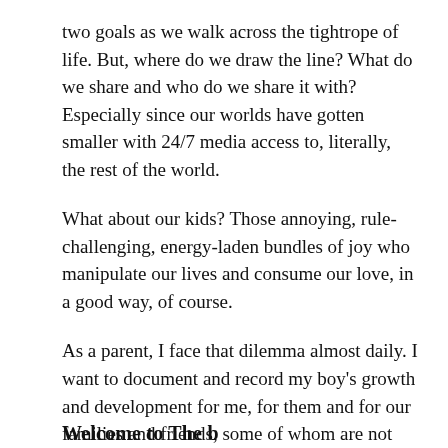two goals as we walk across the tightrope of life. But, where do we draw the line? What do we share and who do we share it with? Especially since our worlds have gotten smaller with 24/7 media access to, literally, the rest of the world.
What about our kids? Those annoying, rule-challenging, energy-laden bundles of joy who manipulate our lives and consume our love, in a good way, of course.
As a parent, I face that dilemma almost daily. I want to document and record my boy's growth and development for me, for them and for our families and friends, some of whom are not very close in proximity.   Then there's Mama Bear who is sometimes more protective than I am.
Welcome to The b...